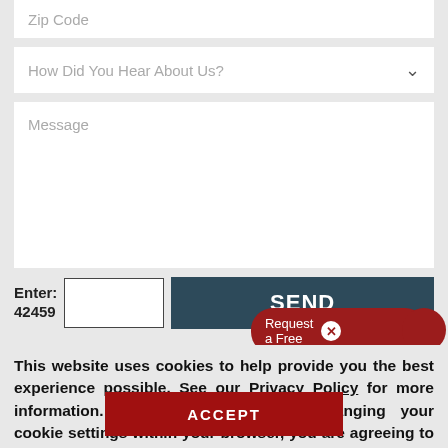Zip Code
How Did You Hear About Us?
Message
Enter: 42459
SEND
Request a Free
This website uses cookies to help provide you the best experience possible. See our Privacy Policy for more information. By continuing without changing your cookie settings within your browser, you are agreeing to our use of cookies.
ACCEPT